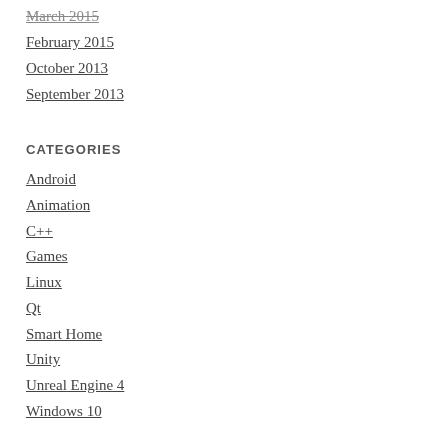March 2015
February 2015
October 2013
September 2013
CATEGORIES
Android
Animation
C++
Games
Linux
Qt
Smart Home
Unity
Unreal Engine 4
Windows 10